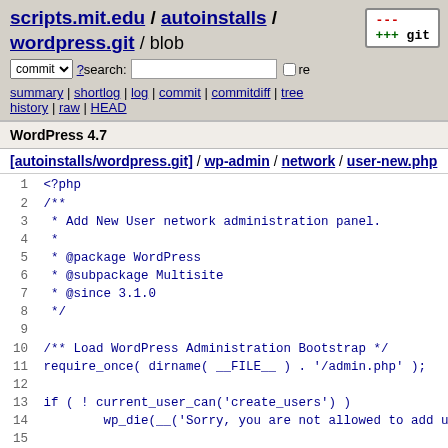scripts.mit.edu / autoinstalls / wordpress.git / blob
commit  ? search:  re
summary | shortlog | log | commit | commitdiff | tree history | raw | HEAD
WordPress 4.7
[autoinstalls/wordpress.git] / wp-admin / network / user-new.php
[Figure (screenshot): Code listing of user-new.php showing lines 1-19 of a PHP file with WordPress header docblock and initial requires]
1  <?php
2  /**
3   * Add New User network administration panel.
4   *
5   * @package WordPress
6   * @subpackage Multisite
7   * @since 3.1.0
8   */
9  
10 /** Load WordPress Administration Bootstrap */
11 require_once( dirname( __FILE__ ) . '/admin.php' );
12 
13 if ( ! current_user_can('create_users') )
14         wp_die(__('Sorry, you are not allowed to add u
15 
16 get_current_screen()->add_help_tab( array(
17         'id'      => 'overview',
18         'title'   => __('Overview'),
19         'content' =>